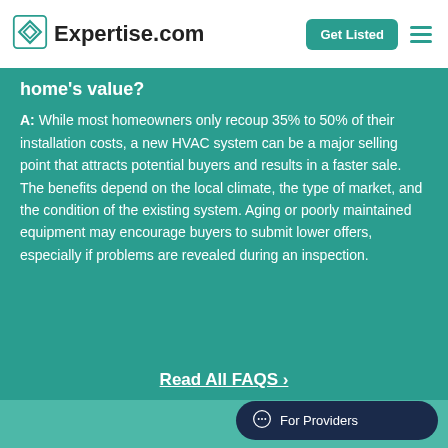Expertise.com
home's value?
A: While most homeowners only recoup 35% to 50% of their installation costs, a new HVAC system can be a major selling point that attracts potential buyers and results in a faster sale. The benefits depend on the local climate, the type of market, and the condition of the existing system. Aging or poorly maintained equipment may encourage buyers to submit lower offers, especially if problems are revealed during an inspection.
Read All FAQS ›
For Providers